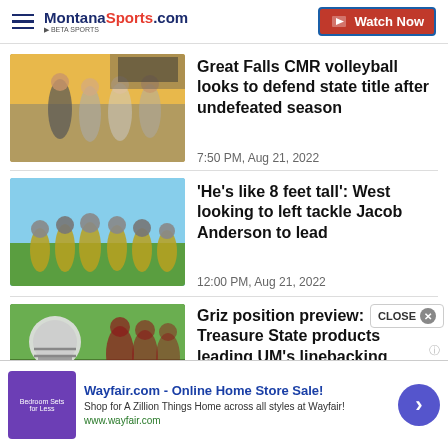MontanaSports.com | Watch Now
Great Falls CMR volleyball looks to defend state title after undefeated season
7:50 PM, Aug 21, 2022
'He's like 8 feet tall': West looking to left tackle Jacob Anderson to lead
12:00 PM, Aug 21, 2022
Griz position preview: Treasure State products leading UM's linebacking corps
Wayfair.com - Online Home Store Sale! Shop for A Zillion Things Home across all styles at Wayfair! www.wayfair.com